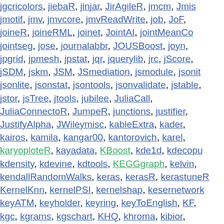jgcricolors, jiebaR, jinjar, JirAgileR, jmcm, Jmis, jmotif, jmv, jmvcore, jmvReadWrite, job, JoF, joineR, joineRML, joinet, JointAI, jointMeanCo, jointseg, jose, journalabbr, JOUSBoost, joyn, jpgrid, jpmesh, jpstat, jqr, jquerylib, jrc, jScore, jSDM, jskm, JSM, JSmediation, jsmodule, jsonit, jsonlite, jsonstat, jsontools, jsonvalidate, jstable, jstor, jsTree, jtools, jubilee, JuliaCall, JuliaConnectoR, JumpeR, junctions, justifier, JustifyAlpha, JWileymisc, kableExtra, kader, kairos, kamila, kangar00, kantorovich, karel, karyoploteR, kayadata, KBoost, kde1d, kdecopu, kdensity, kdevine, kdtools, KEGGgraph, kelvin, kendallRandomWalks, keras, kerasR, kerastuneR, KernelKnn, kernelPSI, kernelshap, kesernetwork, keyATM, keyholder, keyring, keyToEnglish, KF, kgc, kgrams, kgschart, KHQ, khroma, kibior, kimisc, kindisperse, kinematics, kirby21.base, kissDE, kitagawa, kiwisR, klassR, klexdatr, kme, kmodR, KMunicate, KneeArrower, knitcitations, knitrBootstrap, knitrProgressBar, knn.covertree, knnwtsim, knockoff, kntnr, KoboconnectR, kofdata, kokudosuuchi, konfound, KONPsurv, koRpus, KraljicMatrix, kriens, KrigInv, krippendorffsalpha, KRIS, kselection, ksharp